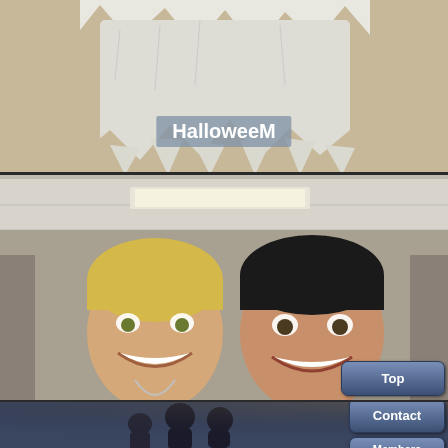[Figure (photo): Halloween costume photo showing a torn white paper/fabric costume against a beige background]
HalloweeM
[Figure (photo): Two men smiling in blue t-shirts. Left man's shirt reads 'LIVE LONG AND PROSPER', right man's shirt has a penguin graphic. Both wearing name tags.]
Code of Conduct
[Figure (photo): Group of people in a dimly lit room, partial view]
Top
Join
Contact
Members Only